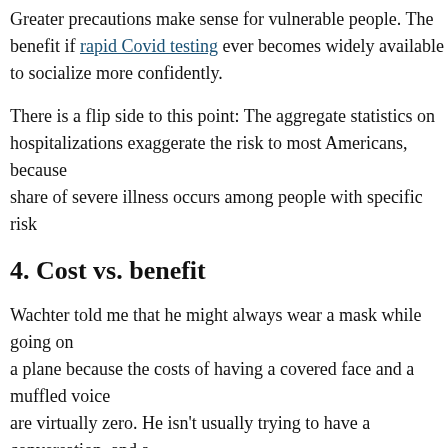Greater precautions make sense for vulnerable people. The benefit if rapid Covid testing ever becomes widely available to socialize more confidently.
There is a flip side to this point: The aggregate statistics on hospitalizations exaggerate the risk to most Americans, because a large share of severe illness occurs among people with specific risk factors.
4. Cost vs. benefit
Wachter told me that he might always wear a mask while going on a plane because the costs of having a covered face and a muffled voice are virtually zero. He isn't usually trying to have a conversation, and a mask can help protect him from all sorts of respiratory viruses.
Unfortunately, the costs of most Covid interventions are higher. Masks hamper communication, especially for young children and the hard of hearing. (Wachter says he expects conferences eventually to be maskless.) Remote work risks career failure. Remote office work hampers collaboration. Social isolation...